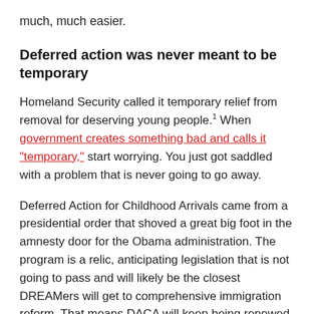much, much easier.
Deferred action was never meant to be temporary
Homeland Security called it temporary relief from removal for deserving young people.¹ When government creates something bad and calls it "temporary," start worrying. You just got saddled with a problem that is never going to go away.
Deferred Action for Childhood Arrivals came from a presidential order that shoved a great big foot in the amnesty door for the Obama administration. The program is a relic, anticipating legislation that is not going to pass and will likely be the closest DREAMers will get to comprehensive immigration reform. That means DACA will keep being renewed